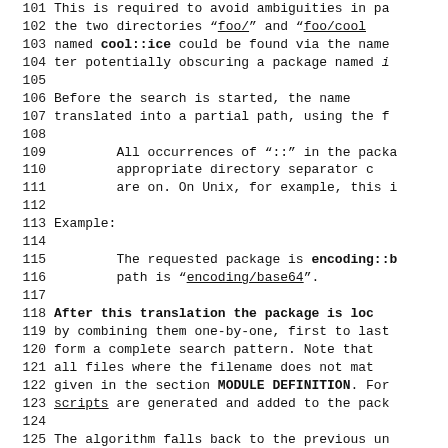101    This is required to avoid ambiguities in pa the two directories "foo/" and "foo/cool named cool::ice could be found via the name ter potentially obscuring a package named i
106    Before the search is started, the name translated into a partial path, using the f
109    All occurrences of "::" in the packa appropriate directory separator c are on. On Unix, for example, this i
113    Example:
115    The requested package is encoding::b path is "encoding/base64".
118    After this translation the package is loc by combining them one-by-one, first to last form a complete search pattern. Note that all files where the filename does not mat given in the section MODULE DEFINITION. For scripts are generated and added to the pack
125    The algorithm falls back to the previous un the found module files satisfy the reques fied the fall-back is ignored.
129    Note that packages in module form have no c provide scripts entered into the package da